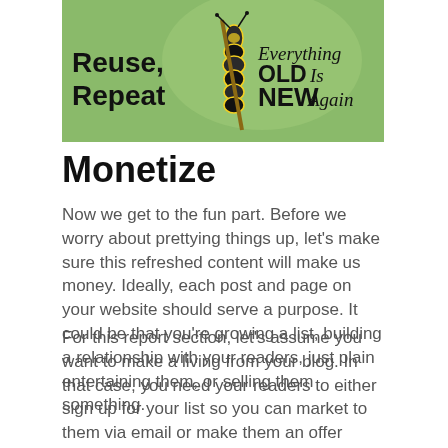[Figure (illustration): A decorative banner image showing a caterpillar on a branch against a green background. Left side has bold text 'Reuse, Repeat' and right side has stylized text 'Everything OLD Is NEW Again'.]
Monetize
Now we get to the fun part. Before we worry about prettying things up, let’s make sure this refreshed content will make us money. Ideally, each post and page on your website should serve a purpose. It could be that you’re growing a list, building a relationship with your readers, just plain entertaining them, or selling them something.
For this report section, let’s assume you want to make a living from your blog. In that case, you need your readers to either sign up for your list so you can market to them via email or make them an offer directly in the blog post.